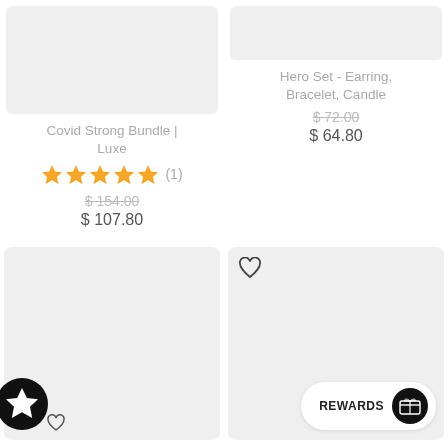[Figure (screenshot): Product image placeholder for Covid Strong Bundle | Luxe — light grey rectangle]
Covid Strong Bundle | Luxe
★★★★★ (1)
$ 154.00 (strikethrough)
$ 107.80
[Figure (screenshot): Product image placeholder for Hero Set - Earring, Bracelet, Candle — light grey rectangle]
Hero Set - Earring, Bracelet, Candle
$ 72.00 (strikethrough)
$ 64.80
[Figure (screenshot): Bottom-left product placeholder — grey square with star/wishlist badge]
[Figure (screenshot): Bottom-right product placeholder — grey square with heart icon and REWARDS button]